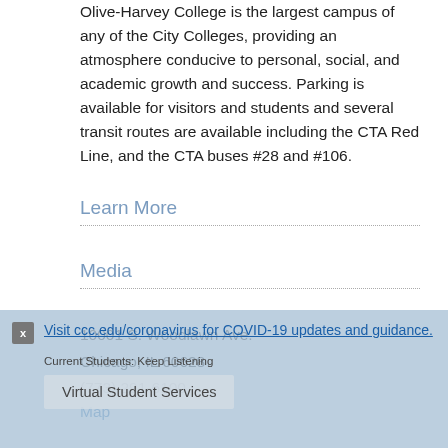Olive-Harvey College is the largest campus of any of the City Colleges, providing an atmosphere conducive to personal, social, and academic growth and success. Parking is available for visitors and students and several transit routes are available including the CTA Red Line, and the CTA buses #28 and #106.
Learn More
Media
10001 S. Woodlawn Ave.
Chicago, IL 60628
(773) 291-6100
Map
Visit ccc.edu/coronavirus for COVID-19 updates and guidance.
Current Students: Keep Listening
Virtual Student Services